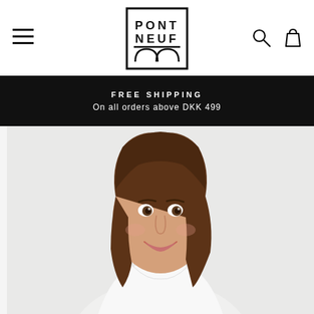[Figure (logo): Pont Neuf brand logo in a square border with arch motif]
[Figure (other): Hamburger menu icon (three horizontal lines)]
[Figure (other): Search and shopping bag icons in top right]
FREE SHIPPING
On all orders above DKK 499
[Figure (photo): Smiling brunette woman wearing a white long-sleeve top, photographed against a light grey/white background, cropped from shoulders up with the top partially visible]